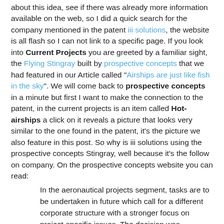about this idea, see if there was already more information available on the web, so I did a quick search for the company mentioned in the patent iii solutions, the website is all flash so I can not link to a specific page. If you look into Current Projects you are greeted by a familiar sight, the Flying Stingray built by prospective concepts that we had featured in our Article called "Airships are just like fish in the sky". We will come back to prospective concepts in a minute but first I want to make the connection to the patent, in the current projects is an item called Hot-airships a click on it reveals a picture that looks very similar to the one found in the patent, it's the picture we also feature in this post. So why is iii solutions using the prospective concepts Stingray, well because it's the follow on company. On the prospective concepts website you can read:
In the aeronautical projects segment, tasks are to be undertaken in future which call for a different corporate structure with a stronger focus on project-specific issues. The decision was therefore taken to set up a new company to handle these projects and other related...